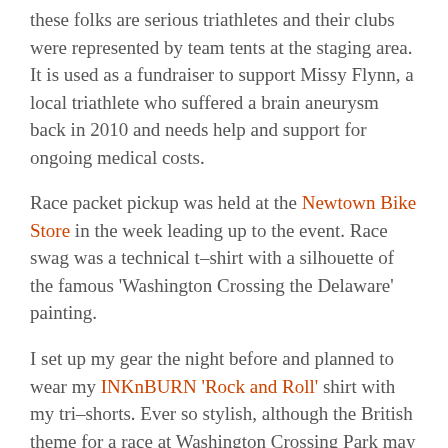these folks are serious triathletes and their clubs were represented by team tents at the staging area. It is used as a fundraiser to support Missy Flynn, a local triathlete who suffered a brain aneurysm back in 2010 and needs help and support for ongoing medical costs.
Race packet pickup was held at the Newtown Bike Store in the week leading up to the event. Race swag was a technical t–shirt with a silhouette of the famous 'Washington Crossing the Delaware' painting.
I set up my gear the night before and planned to wear my INKnBURN 'Rock and Roll' shirt with my tri–shorts. Ever so stylish, although the British theme for a race at Washington Crossing Park may have seemed like an odd choice 😉